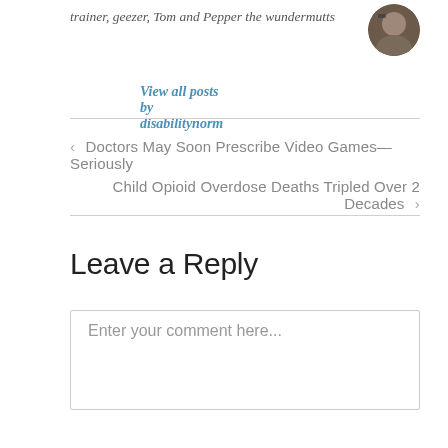trainer, geezer, Tom and Pepper the wundermutts
View all posts by disabilitynorm
[Figure (photo): Circular avatar photo of a person outdoors]
< Doctors May Soon Prescribe Video Games—Seriously
Child Opioid Overdose Deaths Tripled Over 2 Decades >
Leave a Reply
Enter your comment here...